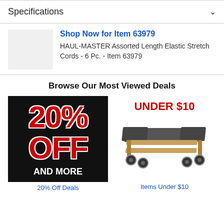Specifications
[Figure (infographic): Shop Now for Item 63979 promotional block with gray placeholder image, blue bold link title, and product description text for HAUL-MASTER Assorted Length Elastic Stretch Cords - 6 Pc. - Item 63979]
Browse Our Most Viewed Deals
[Figure (infographic): Black background promotional tile showing '20% OFF AND MORE' in large red and white text]
20% Off Deals
[Figure (photo): Photo of a furniture dolly/moving dolly with wooden frame and casters on white background with 'UNDER $10' label in red above it]
Items Under $10